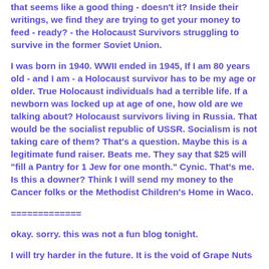that seems like a good thing - doesn't it?  Inside their writings, we find they are trying to get your money to feed - ready? - the Holocaust Survivors struggling to survive in the former Soviet Union.
I was born in 1940.  WWII ended in 1945,  If I am 80 years old - and I am - a Holocaust survivor has to be my age or older.  True Holocaust individuals had a terrible life.  If a newborn was locked up at age of one, how old are we talking about?  Holocaust survivors living in Russia.  That would be the socialist republic of USSR.  Socialism is not taking care of them?  That's a question.  Maybe this is a legitimate fund raiser.  Beats me.  They say that $25 will "fill a Pantry for 1 Jew for one month."  Cynic.  That's me.  Is this a downer?  Think I will send my money to the Cancer folks or the Methodist Children's Home in Waco.
=============
okay.  sorry.   this was not a fun blog tonight.
I will try harder in the future.  It is the void of Grape Nuts